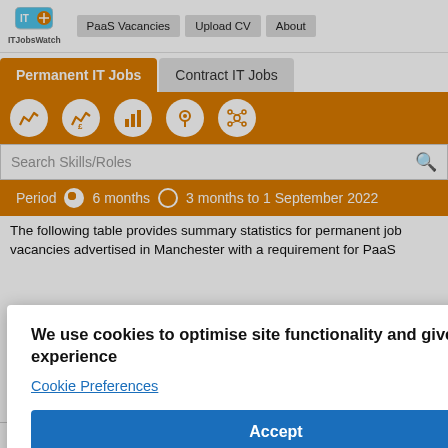ITJobsWatch | PaaS Vacancies | Upload CV | About
Permanent IT Jobs | Contract IT Jobs
[Figure (screenshot): Orange navigation bar with icons: line chart, salary chart, bar chart, location pin, network/skills icon]
Search Skills/Roles
Period  6 months  3 months to 1 September 2022
The following table provides summary statistics for permanent job vacancies advertised in Manchester with a requirement for PaaS ... d in ... ember ... years.
We use cookies to optimise site functionality and give you the best possible experience
Cookie Preferences
Accept
|  |  |  | Same Period 2020 |
| --- | --- | --- | --- |
| Rank | 145 | 131 | 78 |